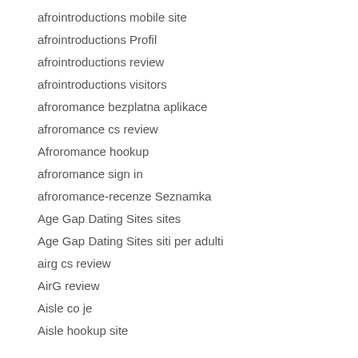afrointroductions mobile site
afrointroductions Profil
afrointroductions review
afrointroductions visitors
afroromance bezplatna aplikace
afroromance cs review
Afroromance hookup
afroromance sign in
afroromance-recenze Seznamka
Age Gap Dating Sites sites
Age Gap Dating Sites siti per adulti
airg cs review
AirG review
Aisle co je
Aisle hookup site